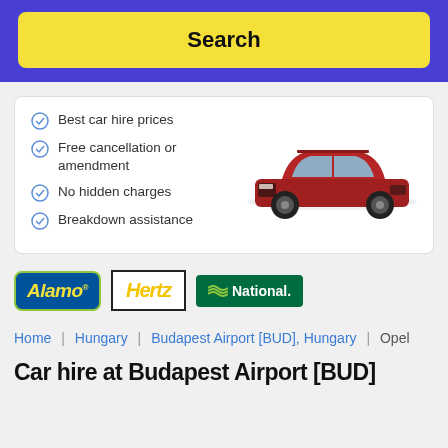Search
Best car hire prices
Free cancellation or amendment
No hidden charges
Breakdown assistance
[Figure (logo): Alamo car rental logo - blue background with yellow text and green border]
[Figure (logo): Hertz car rental logo - yellow italic text on white with black border]
[Figure (logo): National car rental logo - white text on green background]
Home | Hungary | Budapest Airport [BUD], Hungary | Opel
Car hire at Budapest Airport [BUD]